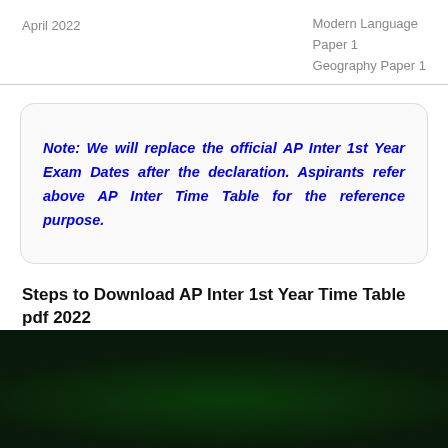April 2022 | Modern Language
Paper 1
Geography Paper 1
Note: We will replace the official AP Inter 1st Year Exam Dates after the declaration. Aspirants refer above AP Inter Time Table for the reference purpose.
Steps to Download AP Inter 1st Year Time Table pdf 2022
[Figure (photo): Neon sign reading 'nova. WE'RE OPEN' in bright green neon lights on a dark background]